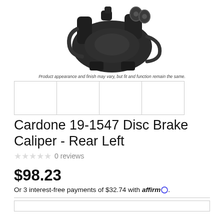[Figure (photo): Photo of a black Cardone disc brake caliper for rear left, shown against white background. The caliper has cylindrical ports and mounting hardware visible.]
Product appearance and finish may vary, but fit and function remain the same.
[Figure (other): Four thumbnail image boxes showing different views of the product, all empty/blank in this rendering.]
Cardone 19-1547 Disc Brake Caliper - Rear Left
0 reviews
$98.23
Or 3 interest-free payments of $32.74 with affirm.